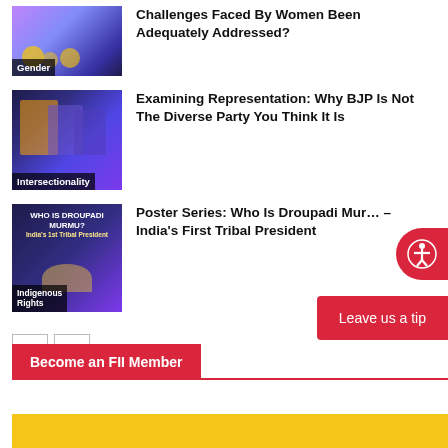[Figure (photo): Thumbnail image with Gender tag and colorful background]
Challenges Faced By Women Been Adequately Addressed?
[Figure (photo): Thumbnail image with Intersectionality tag showing people in blue/purple]
Examining Representation: Why BJP Is Not The Diverse Party You Think It Is
[Figure (illustration): Thumbnail image with Indigenous Rights tag, dark purple background with text 'Who Is Droupadi Murmu? India's 1st Tribal President']
Poster Series: Who Is Droupadi Murmu – India's First Tribal President
< >
Leave us a tip
Become an FII Member